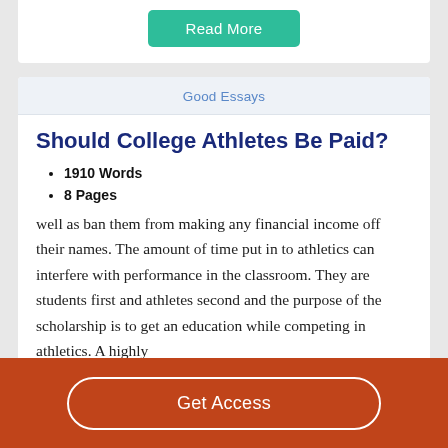[Figure (other): Read More button in teal/green color]
Good Essays
Should College Athletes Be Paid?
1910 Words
8 Pages
well as ban them from making any financial income off their names. The amount of time put in to athletics can interfere with performance in the classroom. They are students first and athletes second and the purpose of the scholarship is to get an education while competing in athletics. A highly
[Figure (other): Get Access button on orange/brown background bar]